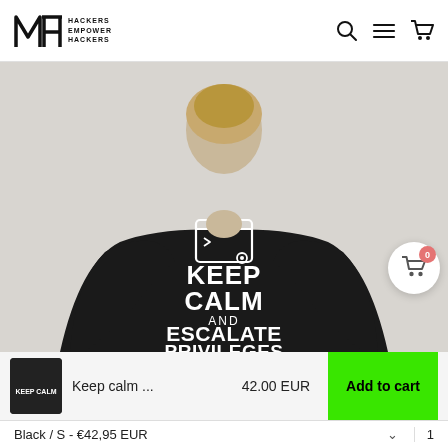[Figure (logo): MHT logo with text HACKERS EMPOWER HACKERS and navigation icons (search, hamburger, cart)]
[Figure (photo): Person wearing black sweatshirt from behind showing text KEEP CALM AND ESCALATE PRIVILEGES with terminal icon]
Keep calm ...    42.00 EUR    Add to cart
Black / S - €42,95 EUR    ∨    1